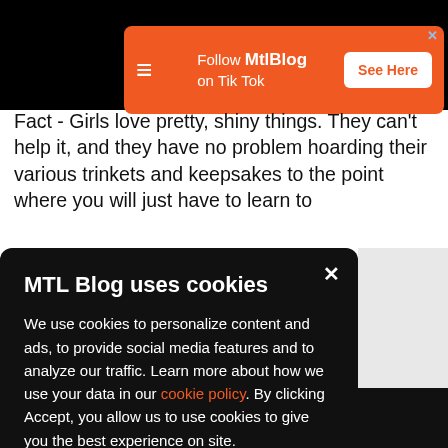[Figure (screenshot): Orange advertisement banner: 'Follow MtlBlog on Tik Tok - See Here' with a stylized Z logo on the left and a white button on the right]
Fact - Girls love pretty, shiny things. They can't help it, and they have no problem hoarding their various trinkets and keepsakes to the point where you will just have to learn to
ve done candles, t of
[Figure (screenshot): Cookie consent modal with dark background. Title: 'MTL Blog uses cookies'. Body: 'We use cookies to personalize content and ads, to provide social media features and to analyze our traffic. Learn more about how we use your data in our cookie policy. By clicking Accept, you allow us to use cookies to give you the best experience on site.' Accept button in orange.]